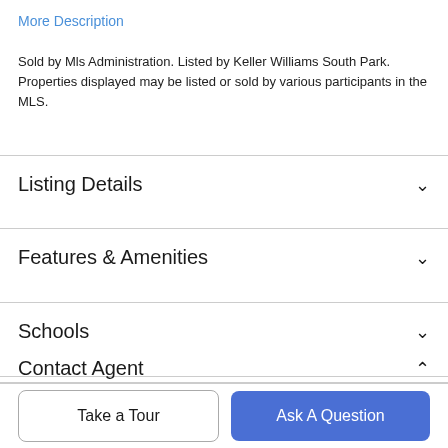More Description
Sold by Mls Administration. Listed by Keller Williams South Park. Properties displayed may be listed or sold by various participants in the MLS.
Listing Details
Features & Amenities
Schools
Payment Calculator
Contact Agent
Take a Tour
Ask A Question